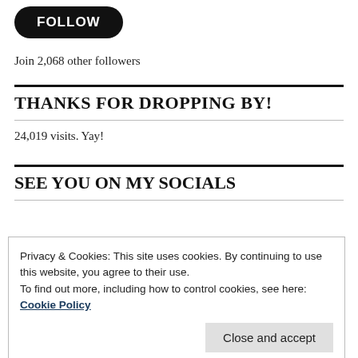[Figure (other): Black rounded rectangle button with white text reading FOLLOW]
Join 2,068 other followers
THANKS FOR DROPPING BY!
24,019 visits. Yay!
SEE YOU ON MY SOCIALS
Privacy & Cookies: This site uses cookies. By continuing to use this website, you agree to their use.
To find out more, including how to control cookies, see here: Cookie Policy
Close and accept